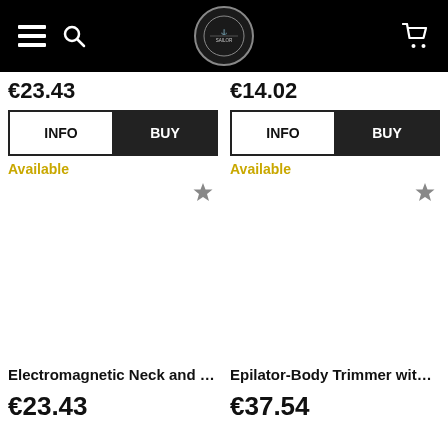Navigation header with hamburger menu, logo, search icon, and cart icon
€23.43
€14.02
INFO | BUY
INFO | BUY
Available
Available
Electromagnetic Neck and B...
Epilator-Body Trimmer with ...
€23.43
€37.54